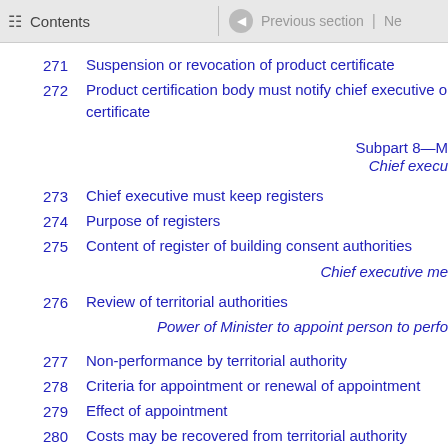Contents | Previous section | Ne
271    Suspension or revocation of product certificate
272    Product certification body must notify chief executive o... certificate
Subpart 8—M...
Chief execu...
273    Chief executive must keep registers
274    Purpose of registers
275    Content of register of building consent authorities
Chief executive me...
276    Review of territorial authorities
Power of Minister to appoint person to perfo...
277    Non-performance by territorial authority
278    Criteria for appointment or renewal of appointment
279    Effect of appointment
280    Costs may be recovered from territorial authority
281    Requirements for appointment